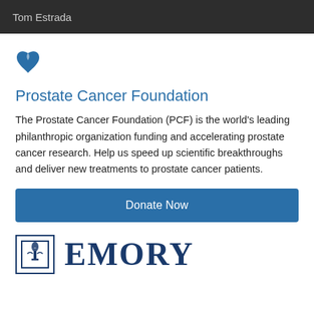Tom Estrada
[Figure (logo): Prostate Cancer Foundation partial logo icon (blue ribbon/figure shape)]
Prostate Cancer Foundation
The Prostate Cancer Foundation (PCF) is the world's leading philanthropic organization funding and accelerating prostate cancer research. Help us speed up scientific breakthroughs and deliver new treatments to prostate cancer patients.
Donate Now
[Figure (logo): Emory University logo: square icon with torch emblem and large bold EMORY text in navy blue]